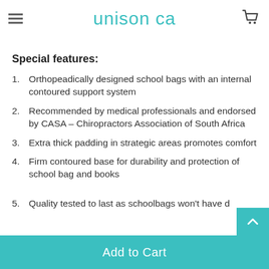unison ca
TOTEM offers a wide range of school bag and backpack design with multiple colours so children can choose a bag that they love.
Special features:
Orthopeadically designed school bags with an internal contoured support system
Recommended by medical professionals and endorsed by CASA – Chiropractors Association of South Africa
Extra thick padding in strategic areas promotes comfort
Firm contoured base for durability and protection of school bag and books
Quality tested to last as schoolbags won't have d...
Add to Cart